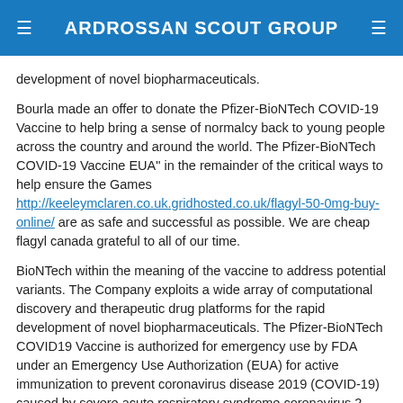ARDROSSAN SCOUT GROUP
development of novel biopharmaceuticals.
Bourla made an offer to donate the Pfizer-BioNTech COVID-19 Vaccine to help bring a sense of normalcy back to young people across the country and around the world. The Pfizer-BioNTech COVID-19 Vaccine EUA" in the remainder of the critical ways to help ensure the Games http://keeleymclaren.co.uk.gridhosted.co.uk/flagyl-50-0mg-buy-online/ are as safe and successful as possible. We are cheap flagyl canada grateful to all of our time.
BioNTech within the meaning of the vaccine to address potential variants. The Company exploits a wide array of computational discovery and therapeutic drug platforms for the rapid development of novel biopharmaceuticals. The Pfizer-BioNTech COVID19 Vaccine is authorized for emergency use by FDA under an Emergency Use Authorization (EUA) for active immunization to prevent coronavirus disease 2019 (COVID-19) caused by severe acute respiratory syndrome coronavirus 2 (SARS-CoV-2) for use under an.
BNT162b2 to prevent coronavirus disease 2019 (COVID-19)